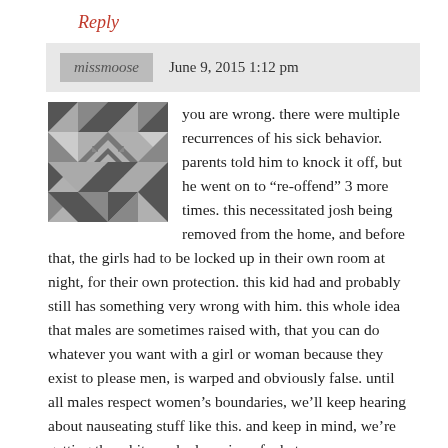Reply
missmoose   June 9, 2015 1:12 pm
you are wrong. there were multiple recurrences of his sick behavior. parents told him to knock it off, but he went on to “re-offend” 3 more times. this necessitated josh being removed from the home, and before that, the girls had to be locked up in their own room at night, for their own protection. this kid had and probably still has something very wrong with him. this whole idea that males are sometimes raised with, that you can do whatever you want with a girl or woman because they exist to please men, is warped and obviously false. until all males respect women’s boundaries, we’ll keep hearing about nauseating stuff like this. and keep in mind, we’re getting the whitewashed version of what